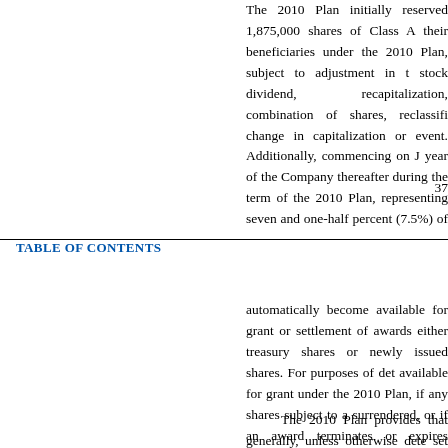The 2010 Plan initially reserved 1,875,000 shares of Class A their beneficiaries under the 2010 Plan, subject to adjustment in the event of a stock dividend, recapitalization, combination of shares, reclassification, or change in capitalization or event. Additionally, commencing on January 1 of each year of the Company thereafter during the term of the 2010 Plan, a number of shares representing seven and one-half percent (7.5%) of our shares of Class A Common Stock, less shares then available for issuance under the 2010 Plan, will
37
TABLE OF CONTENTS
automatically become available for grant or settlement of awards, and may be either treasury shares or newly issued shares. For purposes of determining shares available for grant under the 2010 Plan, if any shares subject to an award are surrendered, or if an award terminates or expires without a distribution, will be available for issuance under the 2010 Plan. However, shares of stock tendered by us as full or partial payment in connection with any award under the 2010 Plan, exchanged by a grantee or withheld by us to satisfy the tax withholding for awards under the 2010 Plan, will not be available for subsequent awards under the 2010 Plan.
The 2010 Plan provides that generally, unless otherwise determined or set forth in an award or employment agreement, in the event of a change in control, all outstanding awards shall become fully vested and exercisable and all deferral periods on any outstanding awards shall immediately lapse.